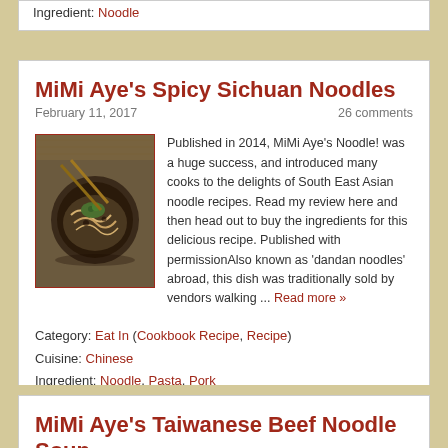Ingredient: Noodle
MiMi Aye's Spicy Sichuan Noodles
February 11, 2017    26 comments
[Figure (photo): Bowl of spicy Sichuan noodles with chopsticks on a woven mat]
Published in 2014, MiMi Aye's Noodle! was a huge success, and introduced many cooks to the delights of South East Asian noodle recipes. Read my review here and then head out to buy the ingredients for this delicious recipe. Published with permissionAlso known as 'dandan noodles' abroad, this dish was traditionally sold by vendors walking ... Read more »
Category: Eat In (Cookbook Recipe, Recipe)
Cuisine: Chinese
Ingredient: Noodle, Pasta, Pork
MiMi Aye's Taiwanese Beef Noodle Soup
February 10, 2017    11 comments